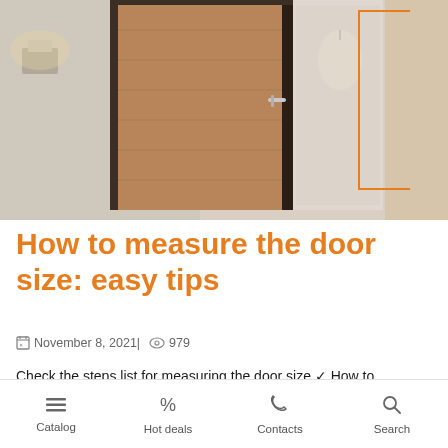[Figure (photo): Interior door scene showing a modern wooden door with dark frame, wall-mounted light fixture, and adjacent glass panel with orange bracket decoration overlay]
How to measure the door size: easy tips
November 8, 2021| 979
Check the steps list for measuring the door size ✔ How to measure the height of a door: sliding glass, interior, French, barn ➡ Check it now!
Catalog | Hot deals | Contacts | Search